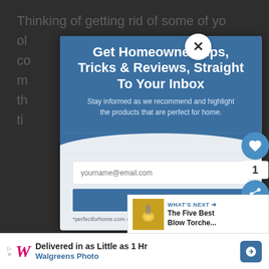Thinking of getting rid of some of your old... co... m... r th... u ti...
[Figure (screenshot): Email subscription popup modal with blue header reading 'Get Homeowner Tips, Tricks & Reviews, Straight To Your Inbox', subtitle text, email input field, and Subscribe button]
Get Homeowner Tips, Tricks & Reviews, Straight To Your Inbox
Stay informed as we recommend and highlight the products that are perfect for home.
yourname@email.com
SUBSCRIBE!
*perfectforhome.com does not share your email with
WHAT'S NEXT → The Five Best Blow Torche...
Delivered in as Little as 1 Hr Walgreens Photo